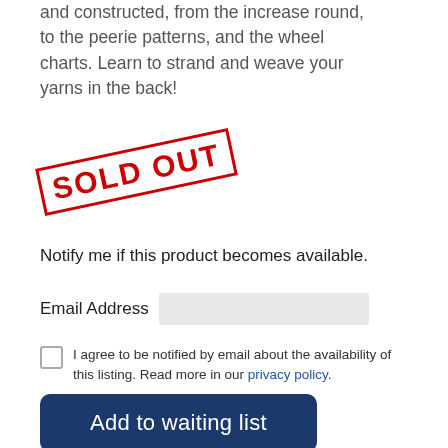and constructed, from the increase round, to the peerie patterns, and the wheel charts. Learn to strand and weave your yarns in the back!
[Figure (other): Red SOLD OUT stamp with rotated rectangular border, bold red capital text reading SOLD OUT]
Notify me if this product becomes available.
Email Address [input field]
I agree to be notified by email about the availability of this listing. Read more in our privacy policy.
Add to waiting list